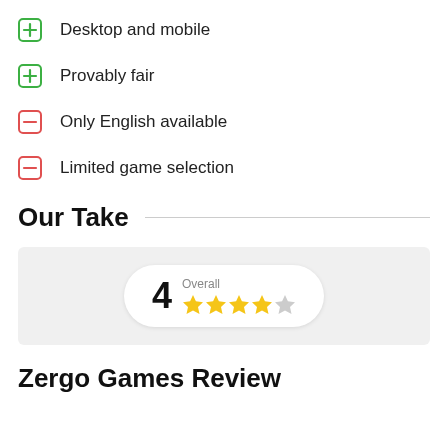Desktop and mobile
Provably fair
Only English available
Limited game selection
Our Take
[Figure (infographic): Rating pill showing score of 4 out of 5 stars with label 'Overall']
Zergo Games Review